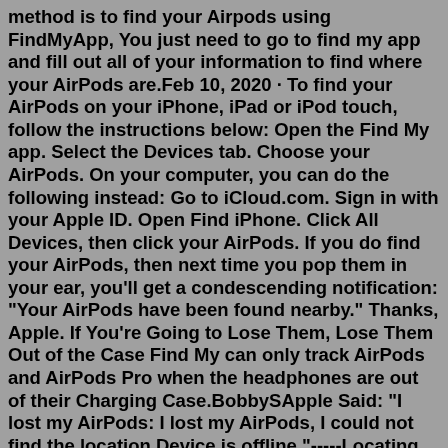method is to find your Airpods using FindMyApp, You just need to go to find my app and fill out all of your information to find where your AirPods are.Feb 10, 2020 · To find your AirPods on your iPhone, iPad or iPod touch, follow the instructions below: Open the Find My app. Select the Devices tab. Choose your AirPods. On your computer, you can do the following instead: Go to iCloud.com. Sign in with your Apple ID. Open Find iPhone. Click All Devices, then click your AirPods. If you do find your AirPods, then next time you pop them in your ear, you'll get a condescending notification: "Your AirPods have been found nearby." Thanks, Apple. If You're Going to Lose Them, Lose Them Out of the Case Find My can only track AirPods and AirPods Pro when the headphones are out of their Charging Case.BobbySApple Said: "I lost my AirPods: I lost my AirPods, I could not find the location.Device is offline."-----Locating Lost Devices: Two Things...  I. Use Find My: Use the Find My App to Locate a Missing Device. It may Apple Support If Find M...